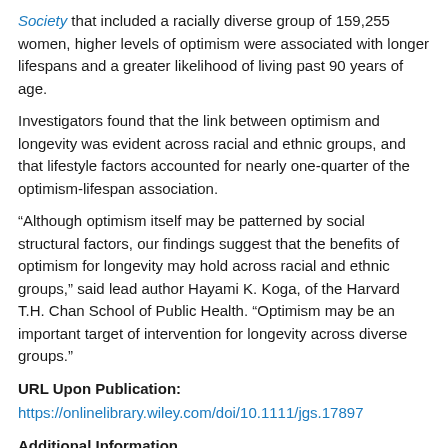Society that included a racially diverse group of 159,255 women, higher levels of optimism were associated with longer lifespans and a greater likelihood of living past 90 years of age.
Investigators found that the link between optimism and longevity was evident across racial and ethnic groups, and that lifestyle factors accounted for nearly one-quarter of the optimism-lifespan association.
“Although optimism itself may be patterned by social structural factors, our findings suggest that the benefits of optimism for longevity may hold across racial and ethnic groups,” said lead author Hayami K. Koga, of the Harvard T.H. Chan School of Public Health. “Optimism may be an important target of intervention for longevity across diverse groups.”
URL Upon Publication:
https://onlinelibrary.wiley.com/doi/10.1111/jgs.17897
Additional Information
NOTE: The information contained in this release is protected by...